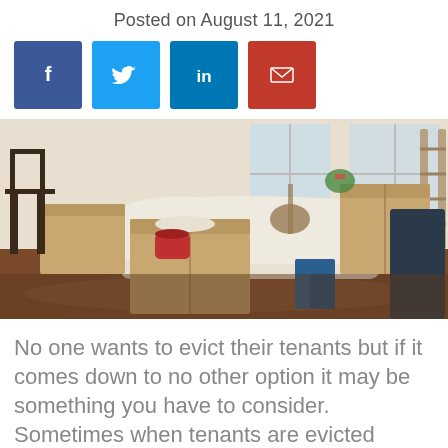Posted on August 11, 2021
[Figure (other): Four social media share buttons: Facebook (dark blue), Twitter (light blue), LinkedIn (medium blue), Email (red)]
[Figure (photo): A room filled with cardboard boxes and furniture covered with sheets, depicting a moving/eviction scene]
No one wants to evict their tenants but if it comes down to no other option it may be something you have to consider. Sometimes when tenants are evicted